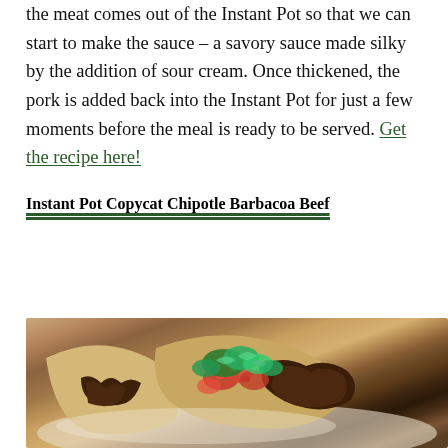the meat comes out of the Instant Pot so that we can start to make the sauce – a savory sauce made silky by the addition of sour cream. Once thickened, the pork is added back into the Instant Pot for just a few moments before the meal is ready to be served. Get the recipe here!
Instant Pot Copycat Chipotle Barbacoa Beef
[Figure (photo): Close-up photo of barbacoa beef tacos in flour tortillas on a plate, topped with fresh salsa (diced tomatoes, peppers) and green herbs/parsley, with shredded beef visible.]